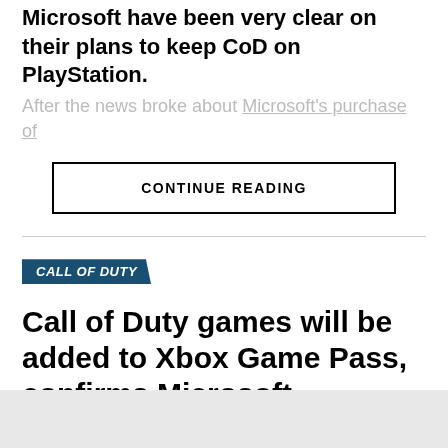Microsoft have been very clear on their plans to keep CoD on PlayStation.
After the news broke about Microsoft's purchase of
CONTINUE READING
CALL OF DUTY
Call of Duty games will be added to Xbox Game Pass, confirms Microsoft
Microsoft have confirmed that Call of Duty titles will be added to